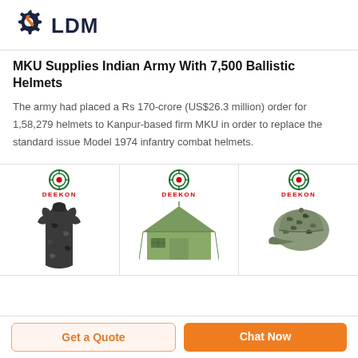LDM
MKU Supplies Indian Army With 7,500 Ballistic Helmets
The army had placed a Rs 170-crore (US$26.3 million) order for 1,58,279 helmets to Kanpur-based firm MKU in order to replace the standard issue Model 1974 infantry combat helmets.
[Figure (photo): Three product images from Deekon brand: a dark camouflage raincoat/poncho, a military green tent, and a digital camo baseball cap, each with the Deekon logo above.]
Get a Quote
Chat Now